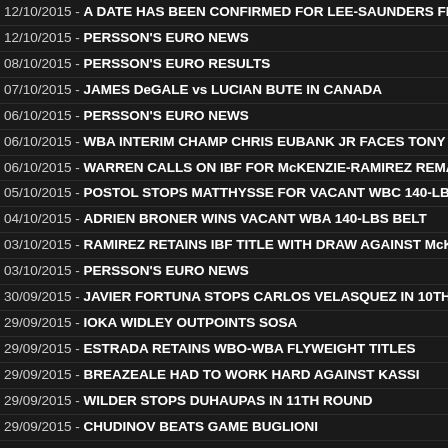12/10/2015 - A DATE HAS BEEN CONFIRMED FOR LEE-SAUNDERS FI
12/10/2015 - PERSSON'S EURO NEWS
08/10/2015 - PERSSON'S EURO RESULTS
07/10/2015 - JAMES DeGALE vs LUCIAN BUTE IN CANADA
06/10/2015 - PERSSON'S EURO NEWS
06/10/2015 - WBA INTERIM CHAMP CHRIS EUBANK JR FACES TONY ...
06/10/2015 - WARREN CALLS ON IBF FOR McKENZIE-RAMIREZ REMA
05/10/2015 - POSTOL STOPS MATTHYSSE FOR VACANT WBC 140-LB
04/10/2015 - ADRIEN BRONER WINS VACANT WBA 140-LBS BELT
03/10/2015 - RAMIREZ RETAINS IBF TITLE WITH DRAW AGAINST McK
03/10/2015 - PERSSON'S EURO NEWS
30/09/2015 - JAVIER FORTUNA STOPS CARLOS VELASQUEZ IN 10TH
29/09/2015 - IOKA WIDLEY OUTPOINTS SOSA
29/09/2015 - ESTRADA RETAINS WBO-WBA FLYWEIGHT TITLES
29/09/2015 - BREAZEALE HAD TO WORK HARD AGAINST KASSI
29/09/2015 - WILDER STOPS DUHAUPAS IN 11TH ROUND
29/09/2015 - CHUDINOV BEATS GAME BUGLIONI
28/09/2015 - FORMER BOXER TERRANCE LEWIS PASSED AWAY
28/09/2015 - ITALIANS GO CRAZY FOR MALIGNAGGI'S FIGHT IN MILA
28/09/2015 - PERSSON'S EURO NEWS
25/09/2015 - MALIGNAGGI'S BOUT IN MILAN: THE WEIGH IN
25/09/2015 - PERSSON'S EURO NEWS
24/09/2015 - MALIGNAGGI'S FIGHT IN MILAN IS SOLD OUT
24/09/2015 - ROACH MAY ASK PACQUIAO TO RETIRE AFTER NEXT B
24/09/2015 - GONZALEZ AND VILORIA SQUARE OFF IN A TERRIFIC FI
23/09/2015 - PERSSON'S EURO RESULTS
22/09/2015 - FLOYD MAYWEATHER SR HOPES FLOYD JR STAYS